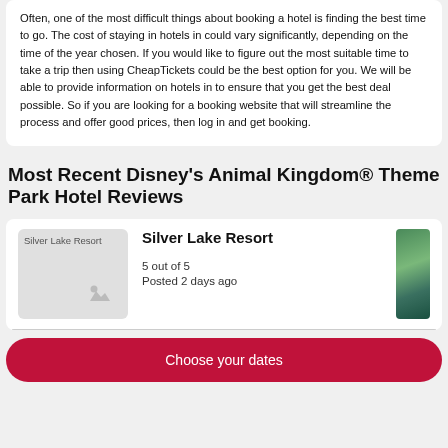Often, one of the most difficult things about booking a hotel is finding the best time to go. The cost of staying in hotels in could vary significantly, depending on the time of the year chosen. If you would like to figure out the most suitable time to take a trip then using CheapTickets could be the best option for you. We will be able to provide information on hotels in to ensure that you get the best deal possible. So if you are looking for a booking website that will streamline the process and offer good prices, then log in and get booking.
Most Recent Disney's Animal Kingdom® Theme Park Hotel Reviews
[Figure (photo): Silver Lake Resort hotel photo placeholder showing broken image icon with text 'Silver Lake Resort']
Silver Lake Resort
5 out of 5
Posted 2 days ago
Choose your dates